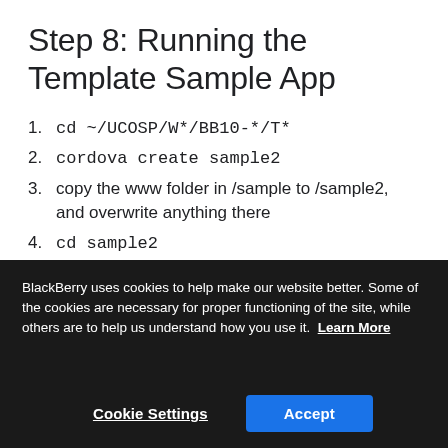Step 8: Running the Template Sample App
1. cd ~/UCOSP/W*/BB10-*/T*
2. cordova create sample2
3. copy the www folder in /sample to /sample2, and overwrite anything there
4. cd sample2
5. cordova platform add blackberry10
6. This step could fail, if so, the easiest solution is to
BlackBerry uses cookies to help make our website better. Some of the cookies are necessary for proper functioning of the site, while others are to help us understand how you use it. Learn More
Cookie Settings  Accept